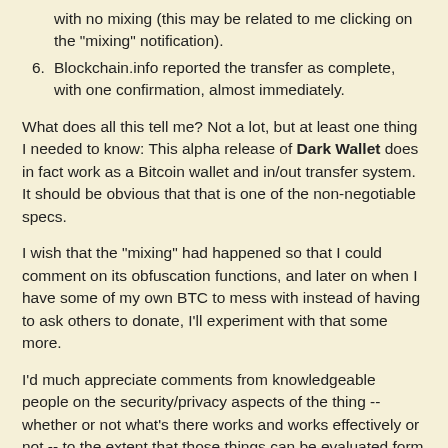with no mixing (this may be related to me clicking on the "mixing" notification).
Blockchain.info reported the transfer as complete, with one confirmation, almost immediately.
What does all this tell me? Not a lot, but at least one thing I needed to know: This alpha release of Dark Wallet does in fact work as a Bitcoin wallet and in/out transfer system. It should be obvious that that is one of the non-negotiable specs.
I wish that the "mixing" had happened so that I could comment on its obfuscation functions, and later on when I have some of my own BTC to mess with instead of having to ask others to donate, I'll experiment with that some more.
I'd much appreciate comments from knowledgeable people on the security/privacy aspects of the thing -- whether or not what's there works and works effectively or not -- to the extent that those things can be evaluated form both a use and code analysis standpoint.